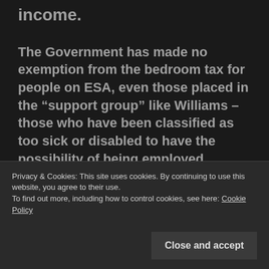income.
The Government has made no exemption from the bedroom tax for people on ESA, even those placed in the “support group” like Williams – those who have been classified as too sick or disabled to have the possibility of being employed.
This is not only a tax on the poorest but
Privacy & Cookies: This site uses cookies. By continuing to use this website, you agree to their use.
To find out more, including how to control cookies, see here: Cookie Policy
Close and accept